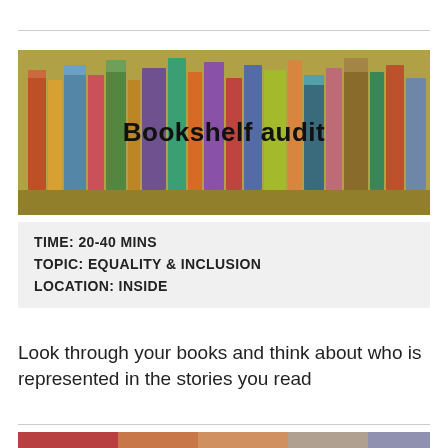[Figure (photo): Photo of a bookshelf with colorful book spines, used as header image for 'Bookshelf audit' activity]
Bookshelf audit
TIME: 20-40 MINS
TOPIC: EQUALITY & INCLUSION
LOCATION: INSIDE
Look through your books and think about who is represented in the stories you read
[Figure (photo): Close-up photo of hands holding book spines, partially visible at bottom of page]